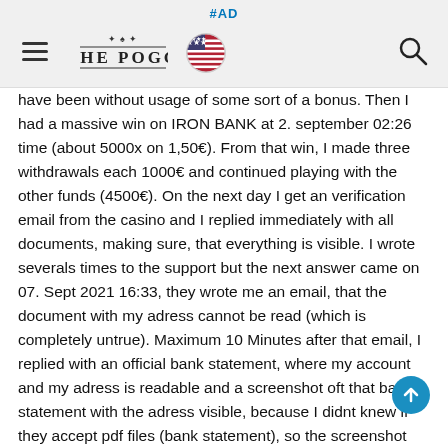#AD | THE POGG [logo] [US flag] [search icon]
have been without usage of some sort of a bonus. Then I had a massive win on IRON BANK at 2. september 02:26 time (about 5000x on 1,50€). From that win, I made three withdrawals each 1000€ and continued playing with the other funds (4500€). On the next day I get an verification email from the casino and I replied immediately with all documents, making sure, that everything is visible. I wrote severals times to the support but the next answer came on 07. Sept 2021 16:33, they wrote me an email, that the document with my adress cannot be read (which is completely untrue). Maximum 10 Minutes after that email, I replied with an official bank statement, where my account and my adress is readable and a screenshot oft that bank statement with the adress visible, because I didnt knew if they accept pdf files (bank statement), so the screenshot was jpg. I checked the visibility again. Since then they do not reply, and they have not credited my money to my account. I´m customer at several N1-casinos, and I double checked, that the amunra.com is still under N1 license. So I sond whats going on there, because N1 usually works out everything in minutes or maximum several hours. Please helnf me with this case